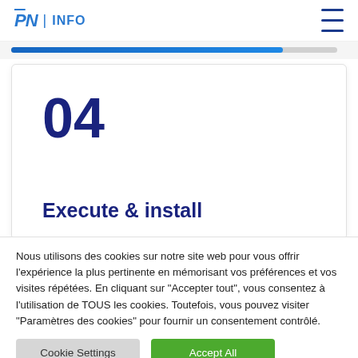PN | INFO
[Figure (infographic): Blue progress bar indicating step progress]
04
Execute & install
Nous utilisons des cookies sur notre site web pour vous offrir l'expérience la plus pertinente en mémorisant vos préférences et vos visites répétées. En cliquant sur "Accepter tout", vous consentez à l'utilisation de TOUS les cookies. Toutefois, vous pouvez visiter "Paramètres des cookies" pour fournir un consentement contrôlé.
Cookie Settings
Accept All